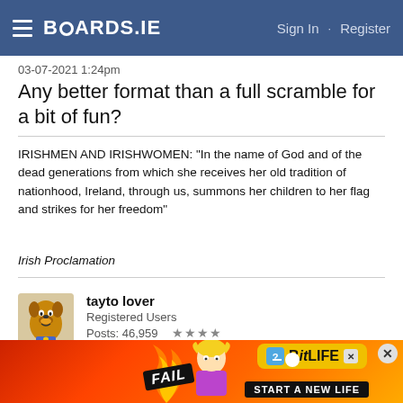BOARDS.IE  Sign In · Register
03-07-2021 1:24pm
Any better format than a full scramble for a bit of fun?
IRISHMEN AND IRISHWOMEN: "In the name of God and of the dead generations from which she receives her old tradition of nationhood, Ireland, through us, summons her children to her flag and strikes for her freedom"
Irish Proclamation
tayto lover
Registered Users
Posts: 46,959 ★★★★
03-07-2021 3:25pm
[Figure (other): BitLife advertisement banner with FAIL text, animated character, and 'START A NEW LIFE' tagline]